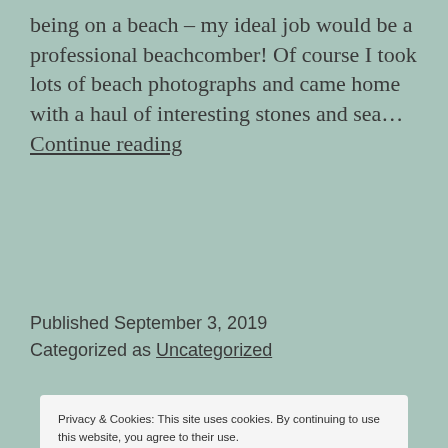being on a beach – my ideal job would be a professional beachcomber! Of course I took lots of beach photographs and came home with a haul of interesting stones and sea… Continue reading
Published September 3, 2019
Categorized as Uncategorized
Privacy & Cookies: This site uses cookies. By continuing to use this website, you agree to their use.
To find out more, including how to control cookies, see here: Cookie Policy
Close and accept